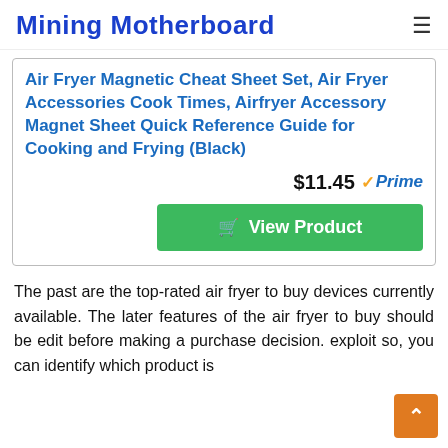Mining Motherboard
Air Fryer Magnetic Cheat Sheet Set, Air Fryer Accessories Cook Times, Airfryer Accessory Magnet Sheet Quick Reference Guide for Cooking and Frying (Black)
$11.45 ✓Prime
View Product
The past are the top-rated air fryer to buy devices currently available. The later features of the air fryer to buy should be edit before making a purchase decision. exploit so, you can identify which product is